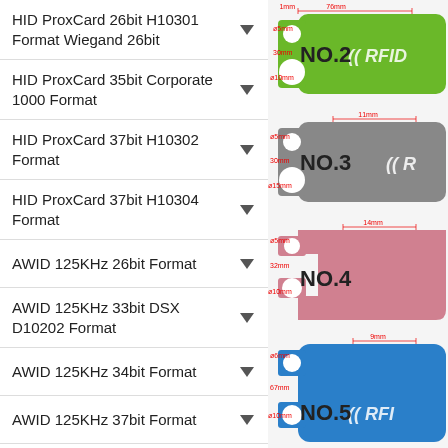HID ProxCard 26bit H10301 Format Wiegand 26bit
HID ProxCard 35bit Corporate 1000 Format
HID ProxCard 37bit H10302 Format
HID ProxCard 37bit H10304 Format
AWID 125KHz 26bit Format
AWID 125KHz 33bit DSX D10202 Format
AWID 125KHz 34bit Format
AWID 125KHz 37bit Format
[Figure (engineering-diagram): RFID wristband NO.2 green with dimensions: 76mm width, 1mm, 5mm, 30mm, 10mm circle measurements]
[Figure (engineering-diagram): RFID wristband NO.3 gray with dimensions similar to NO.2]
[Figure (engineering-diagram): RFID wristband NO.4 pink/rose with dimensions: 14mm, 5mm, 32mm, 10mm measurements]
[Figure (engineering-diagram): RFID wristband NO.5 blue with dimensions: 9mm, 6mm, 67mm, 10mm measurements]